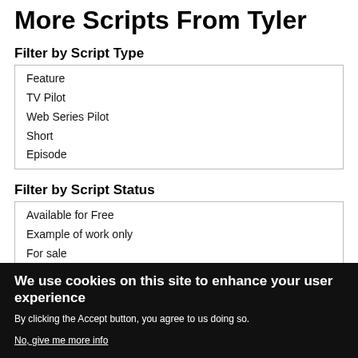More Scripts From Tyler
Filter by Script Type
Feature
TV Pilot
Web Series Pilot
Short
Episode
Filter by Script Status
Available for Free
Example of work only
For sale
Under Option
Seeking finance
Sold
In development
Produced
We use cookies on this site to enhance your user experience
By clicking the Accept button, you agree to us doing so.
No, give me more info